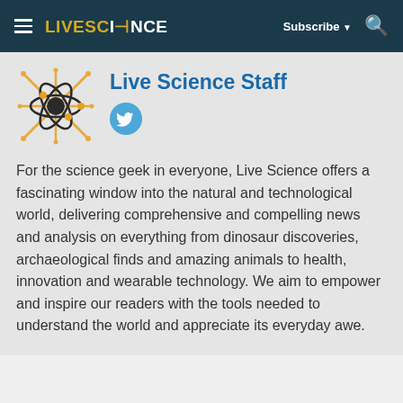LIVESCIENCE — Subscribe — Search
Live Science Staff
For the science geek in everyone, Live Science offers a fascinating window into the natural and technological world, delivering comprehensive and compelling news and analysis on everything from dinosaur discoveries, archaeological finds and amazing animals to health, innovation and wearable technology. We aim to empower and inspire our readers with the tools needed to understand the world and appreciate its everyday awe.